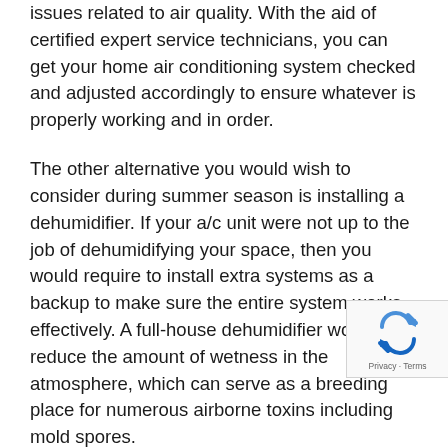issues related to air quality. With the aid of certified expert service technicians, you can get your home air conditioning system checked and adjusted accordingly to ensure whatever is properly working and in order.
The other alternative you would wish to consider during summer season is installing a dehumidifier. If your a/c unit were not up to the job of dehumidifying your space, then you would require to install extra systems as a backup to make sure the entire system works effectively. A full-house dehumidifier would help reduce the amount of wetness in the atmosphere, which can serve as a breeding place for numerous airborne toxins including mold spores.
Arrange for Your Air Conditioning System Maintenance Today
Do not permit your air conditioning system to make
[Figure (other): Google reCAPTCHA badge with recycling-style arrows icon and Privacy · Terms text]